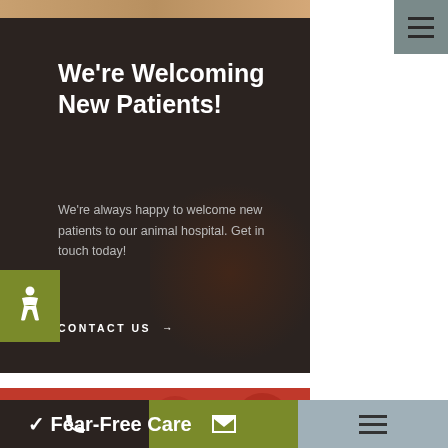[Figure (photo): Top image strip showing partial view of people/animals at an animal hospital]
We're Welcoming New Patients!
We're always happy to welcome new patients to our animal hospital. Get in touch today!
CONTACT US →
✓ Fear-Free Care
✓ Cold Laser Therapy